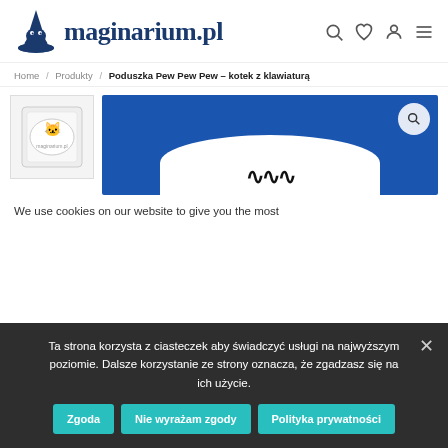[Figure (logo): maginarium.pl logo with wizard hat mascot in dark blue]
Home / Produkty / Poduszka Pew Pew Pew – kotek z klawiaturą
[Figure (photo): Product thumbnail and main image of a white pillow on blue background]
We use cookies on our website to give you the most
Ta strona korzysta z ciasteczek aby świadczyć usługi na najwyższym poziomie. Dalsze korzystanie ze strony oznacza, że zgadzasz się na ich użycie.
Zgoda  Nie wyrażam zgody  Polityka prywatności